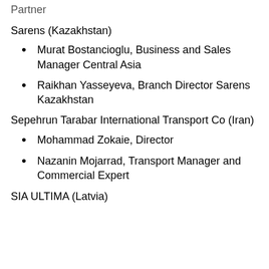Partner
Sarens (Kazakhstan)
Murat Bostancioglu, Business and Sales Manager Central Asia
Raikhan Yasseyeva, Branch Director Sarens Kazakhstan
Sepehrun Tarabar International Transport Co (Iran)
Mohammad Zokaie, Director
Nazanin Mojarrad, Transport Manager and Commercial Expert
SIA ULTIMA (Latvia)